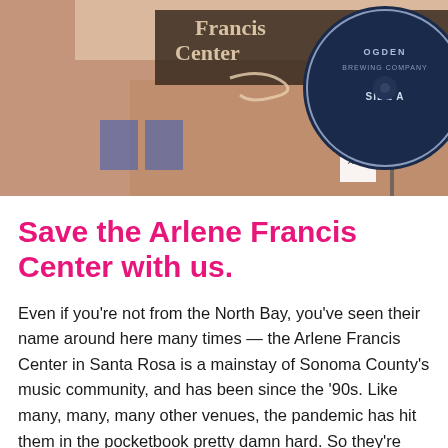[Figure (photo): Photo showing the exterior of the Arlene Francis Center building with signage, and a circular badge from Ogden Brewing Company on the right side.]
Save the Arlene Francis Center with us.
Even if you're not from the North Bay, you've seen their name around here many times — the Arlene Francis Center in Santa Rosa is a mainstay of Sonoma County's music community, and has been since the '90s. Like many, many, many other venues, the pandemic has hit them in the pocketbook pretty damn hard. So they're doing what we all do best right now: Hosting a livestream-slash-fundraiser. Actually, this one is pre-